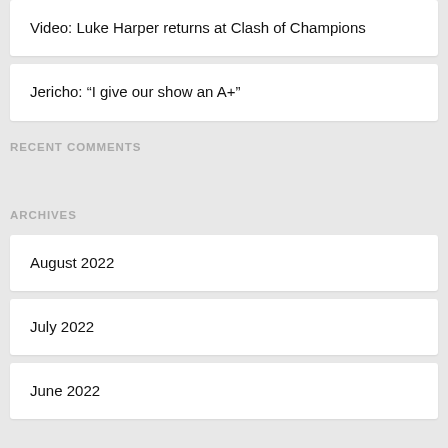Video: Luke Harper returns at Clash of Champions
Jericho: “I give our show an A+”
RECENT COMMENTS
ARCHIVES
August 2022
July 2022
June 2022